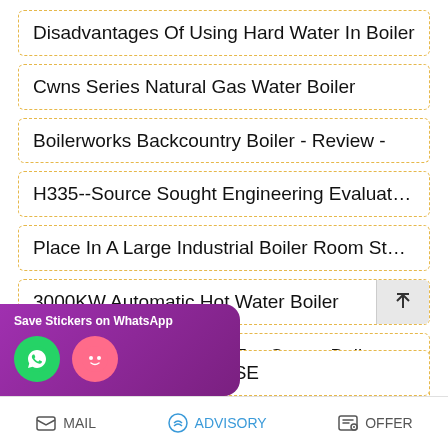Disadvantages Of Using Hard Water In Boiler
Cwns Series Natural Gas Water Boiler
Boilerworks Backcountry Boiler - Review -
H335--Source Sought Engineering Evaluation Study
Place In A Large Industrial Boiler Room Stock Photo
3000KW Automatic Hot Water Boiler
Safe And Economical 1 Ton Steam Boiler
Steam Boiler Technical Specification
Ton Lithuania - REWERSE
MAIL   ADVISORY   OFFER